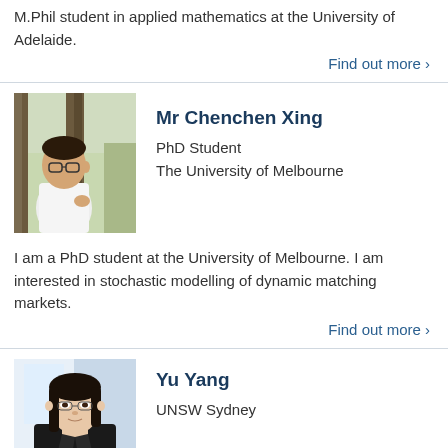M.Phil student in applied mathematics at the University of Adelaide.
Find out more >
[Figure (photo): Photo of Chenchen Xing standing outdoors next to a tree, wearing a white t-shirt and glasses.]
Mr Chenchen Xing
PhD Student
The University of Melbourne
I am a PhD student at the University of Melbourne. I am interested in stochastic modelling of dynamic matching markets.
Find out more >
[Figure (photo): Photo of Yu Yang, a woman with black hair wearing a black jacket, photographed indoors with a light background.]
Yu Yang
UNSW Sydney